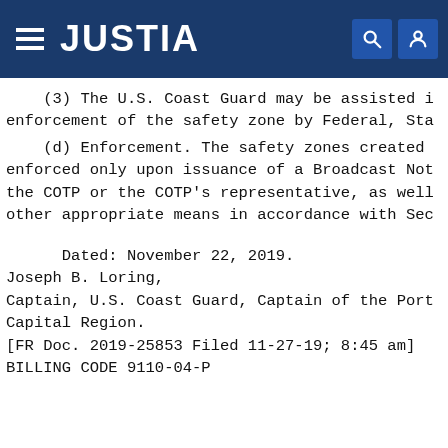JUSTIA
(3) The U.S. Coast Guard may be assisted in enforcement of the safety zone by Federal, Sta
(d) Enforcement. The safety zones created enforced only upon issuance of a Broadcast Not the COTP or the COTP's representative, as well other appropriate means in accordance with Sec
Dated: November 22, 2019.
Joseph B. Loring,
Captain, U.S. Coast Guard, Captain of the Port Capital Region.
[FR Doc. 2019-25853 Filed 11-27-19; 8:45 am]
BILLING CODE 9110-04-P